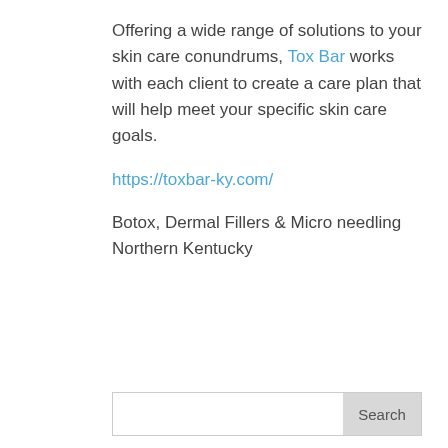Offering a wide range of solutions to your skin care conundrums, Tox Bar works with each client to create a care plan that will help meet your specific skin care goals.
https://toxbar-ky.com/
Botox, Dermal Fillers & Micro needling Northern Kentucky